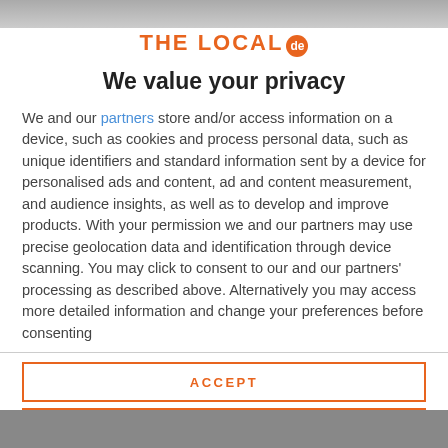[Figure (logo): THE LOCAL de logo — orange text with orange circular badge showing 'de']
We value your privacy
We and our partners store and/or access information on a device, such as cookies and process personal data, such as unique identifiers and standard information sent by a device for personalised ads and content, ad and content measurement, and audience insights, as well as to develop and improve products. With your permission we and our partners may use precise geolocation data and identification through device scanning. You may click to consent to our and our partners' processing as described above. Alternatively you may access more detailed information and change your preferences before consenting
ACCEPT
MORE OPTIONS